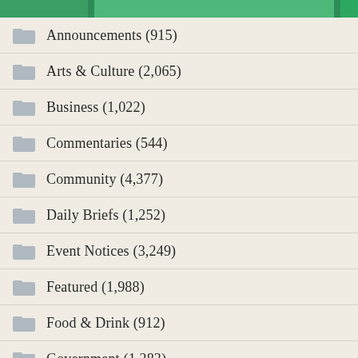Announcements (915)
Arts & Culture (2,065)
Business (1,022)
Commentaries (544)
Community (4,377)
Daily Briefs (1,252)
Event Notices (3,249)
Featured (1,988)
Food & Drink (912)
Government (1,283)
Health & Environment (1,324)
Kids & Families (357)